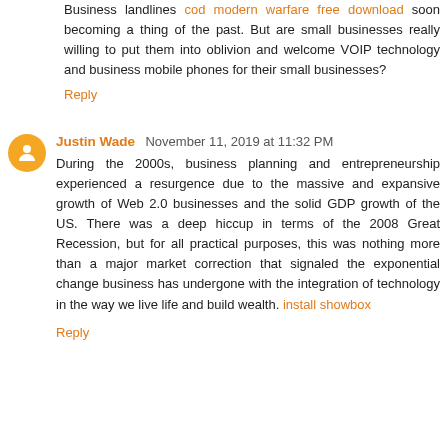Business landlines cod modern warfare free download soon becoming a thing of the past. But are small businesses really willing to put them into oblivion and welcome VOIP technology and business mobile phones for their small businesses?
Reply
Justin Wade  November 11, 2019 at 11:32 PM
During the 2000s, business planning and entrepreneurship experienced a resurgence due to the massive and expansive growth of Web 2.0 businesses and the solid GDP growth of the US. There was a deep hiccup in terms of the 2008 Great Recession, but for all practical purposes, this was nothing more than a major market correction that signaled the exponential change business has undergone with the integration of technology in the way we live life and build wealth. install showbox
Reply